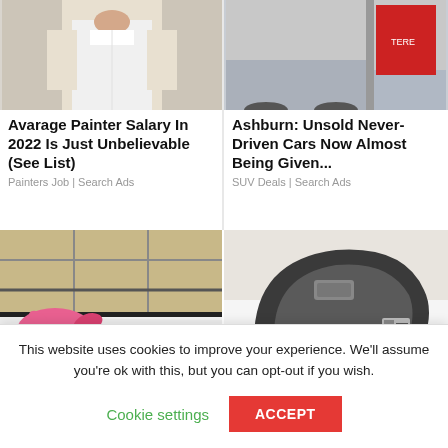[Figure (photo): Painter in white uniform - top portion of image visible]
[Figure (photo): Car advertisement image - partial view with sports memorabilia visible]
Avarage Painter Salary In 2022 Is Just Unbelievable (See List)
Painters Job | Search Ads
Ashburn: Unsold Never-Driven Cars Now Almost Being Given...
SUV Deals | Search Ads
[Figure (photo): Hand in pink rubber glove pointing at mold in bathtub corner near drain]
[Figure (photo): Microsoft Arc Touch wireless mouse with USB dongle on white background]
The Easiest Ways To
Goodbye Cell Phone,
This website uses cookies to improve your experience. We'll assume you're ok with this, but you can opt-out if you wish.
Cookie settings
ACCEPT